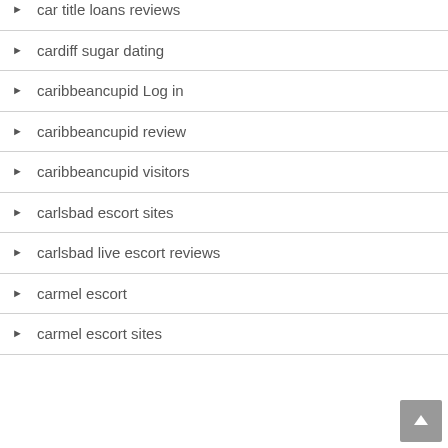car title loans reviews
cardiff sugar dating
caribbeancupid Log in
caribbeancupid review
caribbeancupid visitors
carlsbad escort sites
carlsbad live escort reviews
carmel escort
carmel escort sites